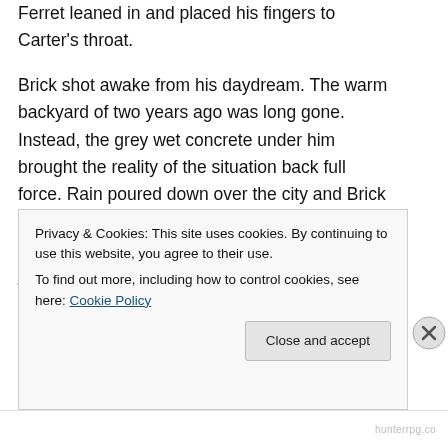Ferret leaned in and placed his fingers to Carter's throat.
Brick shot awake from his daydream. The warm backyard of two years ago was long gone. Instead, the grey wet concrete under him brought the reality of the situation back full force. Rain poured down over the city and Brick lay in a pool of water, stained red with his own blood. Recent events rushed back to him… the job had been going well, Ferret dove in to get the paydata. Something went sideways and Ferret went down. Bandit grabbed the decker's rig while Brick had to pull Bonnie away from their late decker. Alarms had gone off. Skid ran the gate and
Privacy & Cookies: This site uses cookies. By continuing to use this website, you agree to their use.
To find out more, including how to control cookies, see here: Cookie Policy
hunterrpg.co